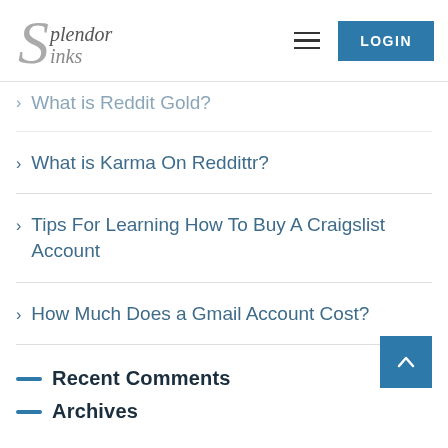Splendor Sinks — LOGIN
> What is Reddit Gold?
> What is Karma On Reddittr?
> Tips For Learning How To Buy A Craigslist Account
> How Much Does a Gmail Account Cost?
— Recent Comments
— Archives